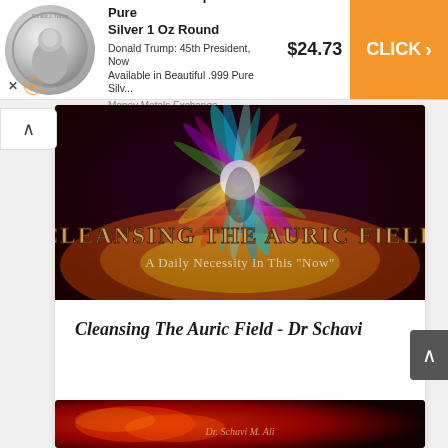[Figure (screenshot): Advertisement banner for President Trump .999 Pure Silver 1 Oz Round from Money Metals Exchange, priced at $24.73, with orange CLICK button]
President Trump - .999 Pure Silver 1 Oz Round
Donald Trump: 45th President, Now Available in Beautiful .999 Pure Silv...
Money Metals Exchange
$24.73
CLICK >
[Figure (illustration): Colorful psychedelic burst of light energy image with text CLEANSING THE AURIC FIELD and subtitle A Daily Necessity In This "Now"]
Cleansing The Auric Field - Dr Schavi
[Figure (photo): Bottom preview card showing red cosmic/space imagery with text Dr. Schavi M. Ali in italic gold text]